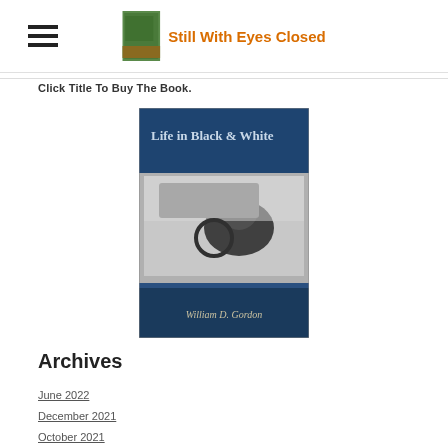Still With Eyes Closed
Click Title To Buy The Book.
[Figure (illustration): Book cover for 'Life in Black & White' by William D. Gordon. Dark blue cover with a black and white photograph of a person sitting in a car. Title text 'Life in Black & White' appears in light text at the top, and author name 'William D. Gordon' in cursive at the bottom.]
Archives
June 2022
December 2021
October 2021